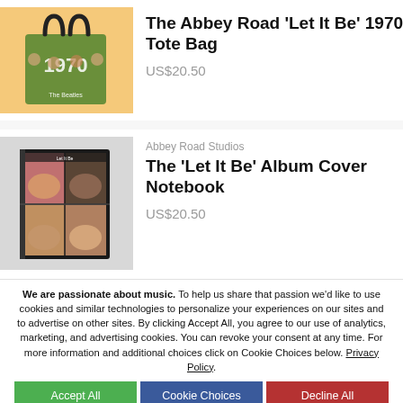[Figure (photo): Green 1970 tote bag with Beatles photos on warm yellow-orange background]
The Abbey Road ‘Let It Be’ 1970 Tote Bag
US$20.50
Abbey Road Studios
[Figure (photo): Let It Be album cover notebook with four Beatles portraits grid on gray background]
The 'Let It Be' Album Cover Notebook
US$20.50
We are passionate about music. To help us share that passion we'd like to use cookies and similar technologies to personalize your experiences on our sites and to advertise on other sites. By clicking Accept All, you agree to our use of analytics, marketing, and advertising cookies. You can revoke your consent at any time. For more information and additional choices click on Cookie Choices below. Privacy Policy.
Accept All
Cookie Choices
Decline All